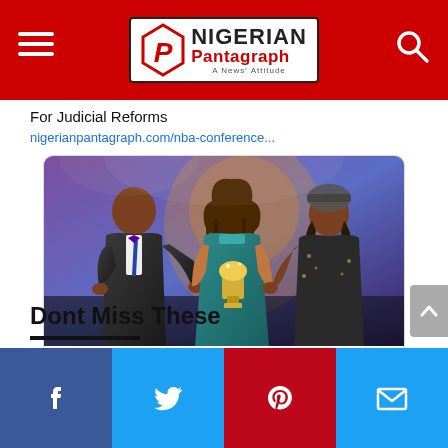Nigerian Pantagraph - A News' Attitude
For Judicial Reforms
nigerianpantagraph.com/nba-conference...
[Figure (photo): Three people on stage at an award ceremony; a man in a suit on the left shaking hands with a woman in a teal dress holding a golden trophy, and another person on the right, with a blurred projected image in the background.]
nigerianpantagraph.com
NBA Conference: CJN, Sanwo-Olu, Adichie Call For Judicial Reforms - Nigerian
Dont Miss These
Social share buttons: Facebook, Twitter, Pinterest, Email